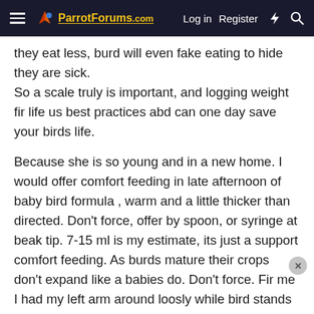ParrotForums.com  Log in  Register
they eat less, burd will even fake eating to hide they are sick.
So a scale truly is important, and logging weight fir life us best practices abd can one day save your birds life.
Because she is so young and in a new home. I would offer comfort feeding in late afternoon of baby bird formula , warm and a little thicker than directed. Don't force, offer by spoon, or syringe at beak tip. 7-15 ml is my estimate, its just a support comfort feeding. As burds mature their crops don't expand like a babies do. Don't force. Fir me I had my left arm around loosly while bird stands on town, left hand hovered over head but didn't touch, used right hand just to left of beak tip and placed a few drops. Once she liked it she opened her mouth to take a little at a time, go slow you don't want any choking, but this is a support comfort thing, and